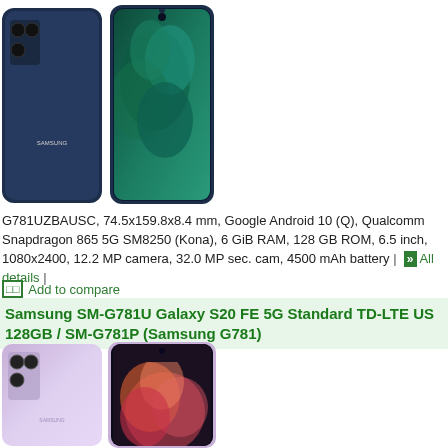[Figure (photo): Samsung Galaxy S20 FE 5G in navy/dark blue color, showing front and back views of the phone]
G781UZBAUSC, 74.5x159.8x8.4 mm, Google Android 10 (Q), Qualcomm Snapdragon 865 5G SM8250 (Kona), 6 GiB RAM, 128 GB ROM, 6.5 inch, 1080x2400, 12.2 MP camera, 32.0 MP sec. cam, 4500 mAh battery | All details |
Add to compare
Samsung SM-G781U Galaxy S20 FE 5G Standard TD-LTE US 128GB / SM-G781P (Samsung G781)
[Figure (photo): Samsung Galaxy S20 FE 5G in lavender/light purple color, showing front and back views of the phone]